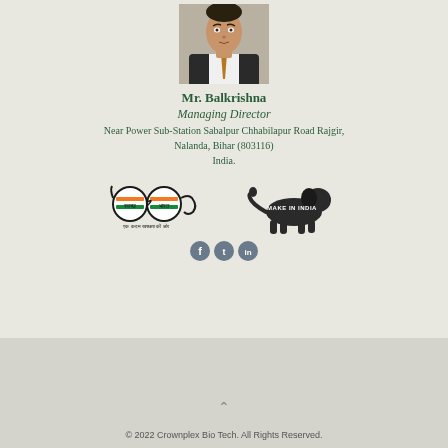[Figure (photo): Passport-style photo of Mr. Balkrishna, a man in a dark suit with a light shirt and tie, cropped at the chin]
Mr. Balkrishna
Managing Director
Near Power Sub-Station Sabalpur Chhabilapur Road Rajgir, Nalanda, Bihar (803116)
India.
[Figure (logo): Swachh Bharat logo - glasses shaped circles with Indian flag colors, text in Hindi: स्वच्छ भारत, एक कदम स्वच्छता की ओर]
[Figure (logo): Make in India logo - lion silhouette with text MAKE IN INDIA]
[Figure (other): Social media icons: Facebook, Twitter, LinkedIn]
© 2022 Crownplex Bio Tech. All Rights Reserved.